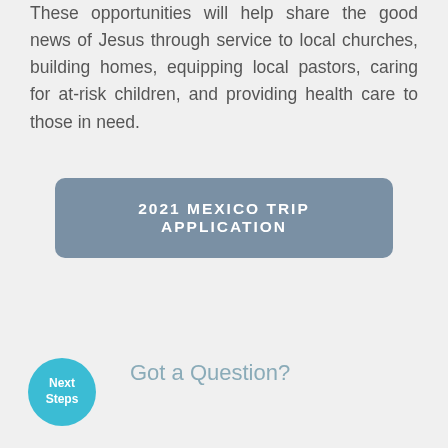These opportunities will help share the good news of Jesus through service to local churches, building homes, equipping local pastors, caring for at-risk children, and providing health care to those in need.
2021 MEXICO TRIP APPLICATION
Got a Question?
Next Steps